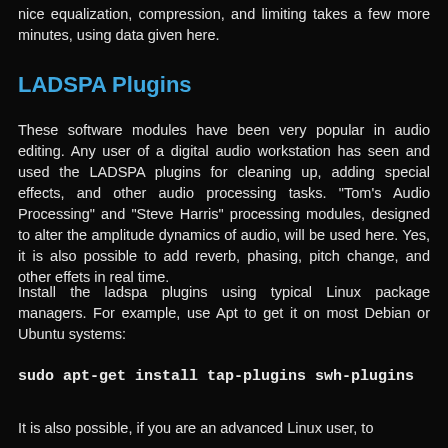nice equalization, compression, and limiting takes a few more minutes, using data given here.
LADSPA Plugins
These software modules have been very popular in audio editing. Any user of a digital audio workstation has seen and used the LADSPA plugins for cleaning up, adding special effects, and other audio processing tasks. "Tom's Audio Processing" and "Steve Harris" processing modules, designed to alter the amplitude dynamics of audio, will be used here. Yes, it is also possible to add reverb, phasing, pitch change, and other effets in real time.
Install the ladspa plugins using typical Linux package managers. For example, use Apt to get it on most Debian or Ubuntu systems:
It is also possible, if you are an advanced Linux user, to